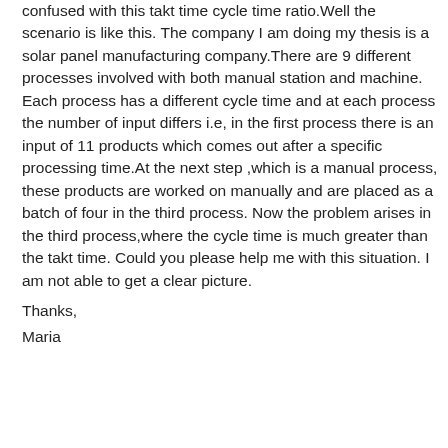confused with this takt time cycle time ratio.Well the scenario is like this. The company I am doing my thesis is a solar panel manufacturing company.There are 9 different processes involved with both manual station and machine. Each process has a different cycle time and at each process the number of input differs i.e, in the first process there is an input of 11 products which comes out after a specific processing time.At the next step ,which is a manual process, these products are worked on manually and are placed as a batch of four in the third process. Now the problem arises in the third process,where the cycle time is much greater than the takt time. Could you please help me with this situation. I am not able to get a clear picture.
Thanks,
Maria